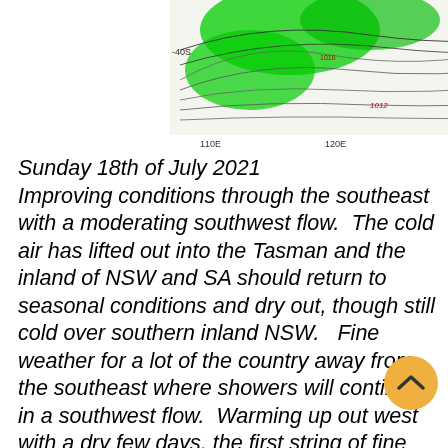[Figure (map): Meteorological weather map of Australia showing wind flow patterns and precipitation. Green shading indicates precipitation/rainfall areas. Contour lines show pressure or wind flow. A color scale bar on the right shows values from 0.5 to 50+. X-axis labels show longitudes: 110E, 120E, 130E, 140E, 150E, 160E.]
Sunday 18th of July 2021 Improving conditions through the southeast with a moderating southwest flow.  The cold air has lifted out into the Tasman and the inland of NSW and SA should return to seasonal conditions and dry out, though still cold over southern inland NSW.   Fine weather for a lot of the country away from the southeast where showers will continue in a southwest flow.  Warming up out west with a dry few days, the first string of fine weather in nearly 3 weeks.  Remaining hot over the north of the nation.